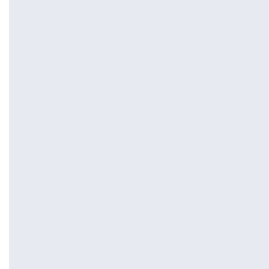[Figure (other): Light blue/lavender background panel occupying the left portion of the page, part of a calendar or navigation UI]
December
November
October
September
August 2
July 2012
June 201
May 2012
April 201
March 20
February
January
December
November
October
September
August 2
July 201
June 201
May 201
April 201
March 20
February
January
December
November
October
September
August 2
July 2010
June 201
May 2010
April 201